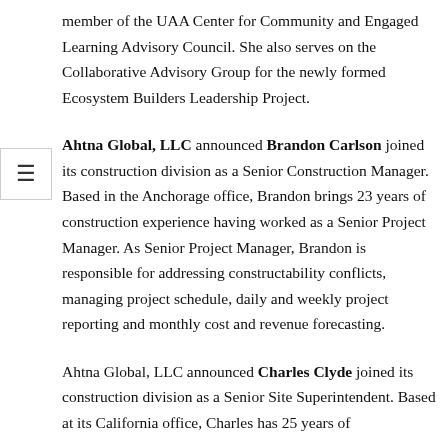member of the UAA Center for Community and Engaged Learning Advisory Council. She also serves on the Collaborative Advisory Group for the newly formed Ecosystem Builders Leadership Project.
Ahtna Global, LLC announced Brandon Carlson joined its construction division as a Senior Construction Manager. Based in the Anchorage office, Brandon brings 23 years of construction experience having worked as a Senior Project Manager. As Senior Project Manager, Brandon is responsible for addressing constructability conflicts, managing project schedule, daily and weekly project reporting and monthly cost and revenue forecasting.
Ahtna Global, LLC announced Charles Clyde joined its construction division as a Senior Site Superintendent. Based at its California office, Charles has 25 years of